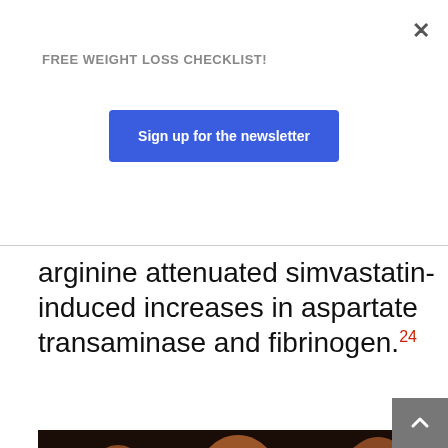FREE WEIGHT LOSS CHECKLIST!
Sign up for the newsletter
arginine attenuated simvastatin-induced increases in aspartate transaminase and fibrinogen.24
[Figure (photo): Muscular male bodybuilders posing, showing muscular torsos]